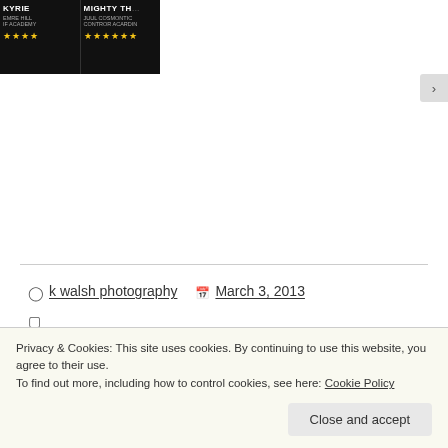[Figure (screenshot): Two movie/comic promotional images side by side on dark background. Left shows 'KYRIE' with subtitle text and 4 yellow stars. Right shows 'MIGHTY TH...' with subtitle text and 6 yellow stars.]
k walsh photography   March 3, 2013
Minneapolis, Real Estate, Saint Paul, St. Paul, Twin Cities Real Estate
buy a home, edina, Ellen Walsh, find a home, home affordability, kate walsh, list a home, low interest rates, Minneapolis,
Privacy & Cookies: This site uses cookies. By continuing to use this website, you agree to their use.
To find out more, including how to control cookies, see here: Cookie Policy
Close and accept